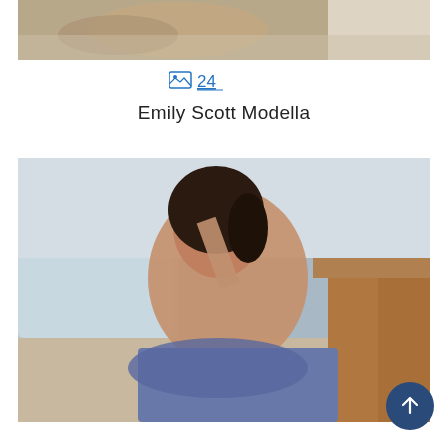[Figure (photo): Top portion of a woman with curly hair lying on a textured rug, partial view cut off at top]
🖼 24
Emily Scott Modella
[Figure (photo): Woman with dark hair leaning against a sofa in a living room setting, wearing minimal clothing and jeans]